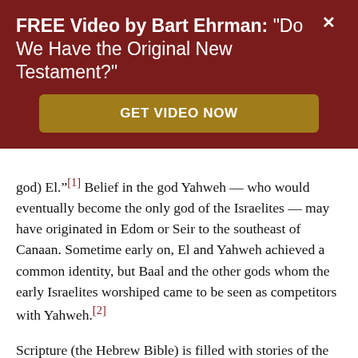FREE Video by Bart Ehrman: "Do We Have the Original New Testament?"
GET VIDEO NOW
god) El.”[1] Belief in the god Yahweh — who would eventually become the only god of the Israelites — may have originated in Edom or Seir to the southeast of Canaan. Sometime early on, El and Yahweh achieved a common identity, but Baal and the other gods whom the early Israelites worshiped came to be seen as competitors with Yahweh.[2]
Scripture (the Hebrew Bible) is filled with stories of the Israelites worshiping different gods. But the pattern that emerges is not, as the theology would have it, one of Israel backsliding from a covenant they had made with Yahweh at Sinai. Over and over, from sacrifices to a local Baal in the book of Judges to Jeremiah’s complaint